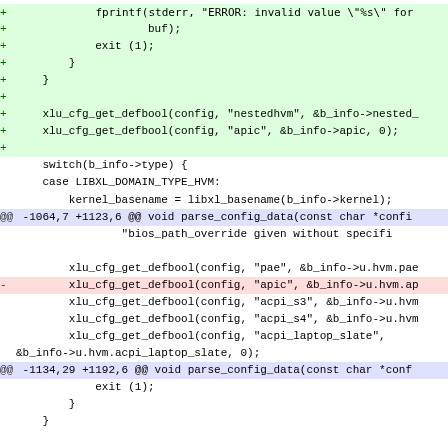Diff/patch code fragment showing changes to parse_config_data function in a C source file, including additions of xlu_cfg_get_defbool calls and removal of apic line, with context around switch(b_info->type) and hunk headers.